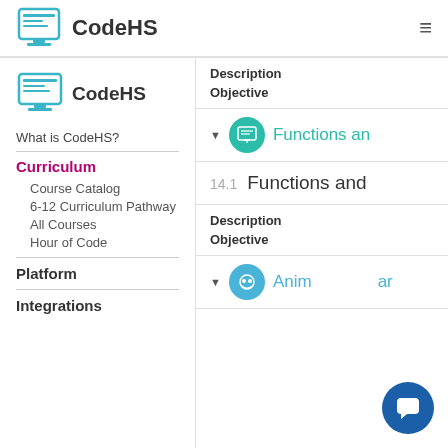CodeHS
[Figure (logo): CodeHS computer monitor logo - top nav]
[Figure (logo): CodeHS computer monitor logo - sidebar]
What is CodeHS?
Curriculum
Course Catalog
6-12 Curriculum Pathway
All Courses
Hour of Code
Platform
Integrations
Description
Objective
Functions an
14.1  Functions and
Description
Objective
Anim ar